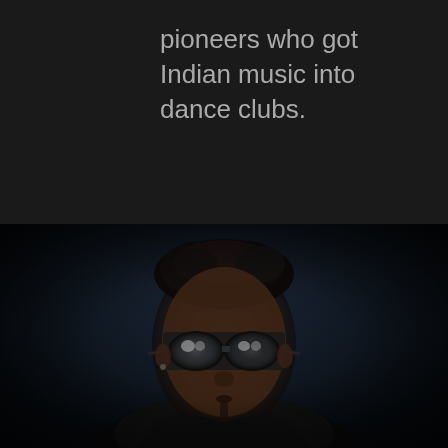pioneers who got Indian music into dance clubs.
[Figure (photo): Dark portrait photo of a man with dark curly hair wearing aviator sunglasses and a black leather jacket, photographed against a dark blue-black background. The subject has a soul patch beard and ear piercings.]